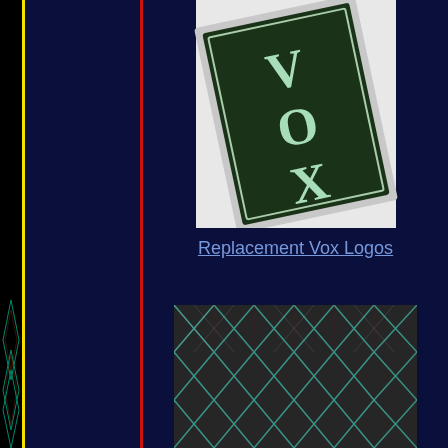[Figure (logo): VOX amplifier logo badge - dark green rectangular badge tilted at an angle with light green/white VOX lettering, white border. Shown on white background.]
Replacement Vox Logos
[Figure (photo): Close-up photo of Vox amplifier diamond/lozenge pattern grille cloth fabric - dark charcoal/black woven fabric with a repeating X or diamond pattern in lighter thread (teal/white/red highlights visible).]